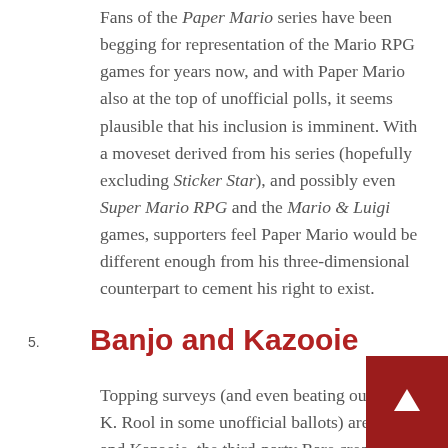Fans of the Paper Mario series have been begging for representation of the Mario RPG games for years now, and with Paper Mario also at the top of unofficial polls, it seems plausible that his inclusion is imminent. With a moveset derived from his series (hopefully excluding Sticker Star), and possibly even Super Mario RPG and the Mario & Luigi games, supporters feel Paper Mario would be different enough from his three-dimensional counterpart to cement his right to exist.
5. Banjo and Kazooie
Topping surveys (and even beating out King K. Rool in some unofficial ballots) are Banjo and Kazooie, the third-party Rare creations who owe most of their history to Nintendo. While it's hard to say with any real confidence that another third-party character will be added to Smash, I'd say Banjo and Kazooie are a